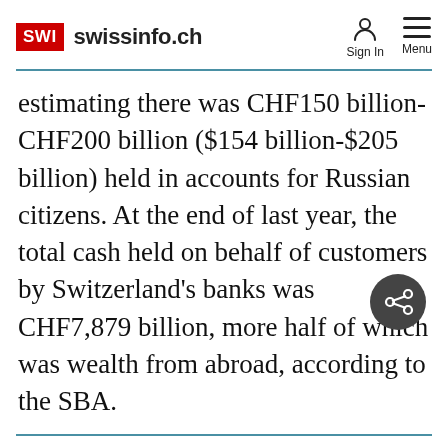SWI swissinfo.ch
estimating there was CHF150 billion-CHF200 billion ($154 billion-$205 billion) held in accounts for Russian citizens. At the end of last year, the total cash held on behalf of customers by Switzerland's banks was CHF7,879 billion, more half of which was wealth from abroad, according to the SBA.
[Figure (other): Share button icon (dark circle with share/network symbol)]